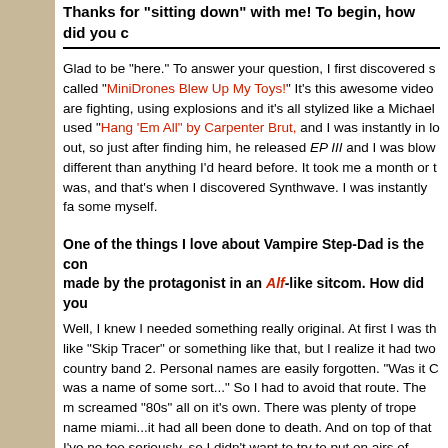Thanks for "sitting down" with me! To begin, how did you c
Glad to be "here." To answer your question, I first discovered s called "MiniDrones Blew Up My Toys!" It's this awesome video are fighting, using explosions and it's all stylized like a Michael used "Hang 'Em All" by Carpenter Brut, and I was instantly in lo out, so just after finding him, he released EP III and I was blow different than anything I'd heard before. It took me a month or t was, and that's when I discovered Synthwave. I was instantly fa some myself.
One of the things I love about Vampire Step-Dad is the con made by the protagonist in an Alf-like sitcom. How did you
Well, I knew I needed something really original. At first I was th like "Skip Tracer" or something like that, but I realize it had two country band 2. Personal names are easily forgotten. "Was it C was a name of some sort..." So I had to avoid that route. The m screamed "80s" all on it's own. There was plenty of trope name miami...it had all been done to death. And on top of that I've ne too seriously, so I didn't want to try to put on airs of badassness